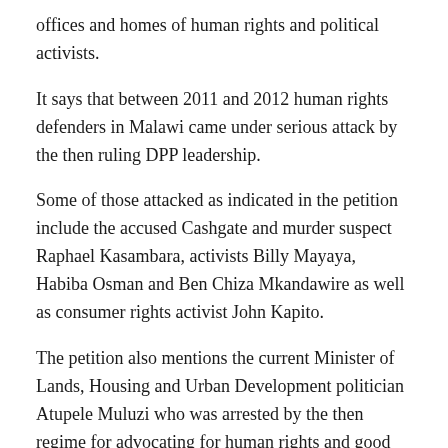offices and homes of human rights and political activists.
It says that between 2011 and 2012 human rights defenders in Malawi came under serious attack by the then ruling DPP leadership.
Some of those attacked as indicated in the petition include the accused Cashgate and murder suspect Raphael Kasambara, activists Billy Mayaya, Habiba Osman and Ben Chiza Mkandawire as well as consumer rights activist John Kapito.
The petition also mentions the current Minister of Lands, Housing and Urban Development politician Atupele Muluzi who was arrested by the then regime for advocating for human rights and good governance in Malawi.
It also mentions some of activists that were threatened with death, including Undule Mwakasungura, Jessie Kabwila,